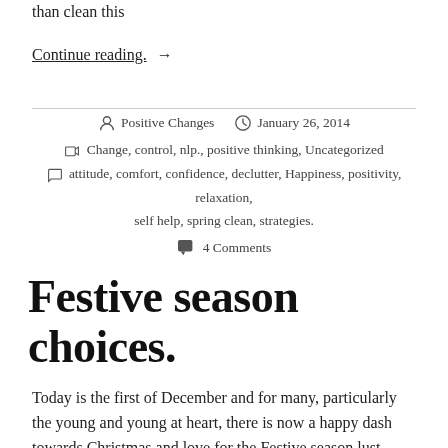than clean this
Continue reading. →
Positive Changes  January 26, 2014
Change, control, nlp., positive thinking, Uncategorized
attitude, comfort, confidence, declutter, Happiness, positivity, relaxation, self help, spring clean, strategies.
4 Comments
Festive season choices.
Today is the first of December and for many, particularly the young and young at heart, there is now a happy dash towards Christmas and love for the Festive season lust for…